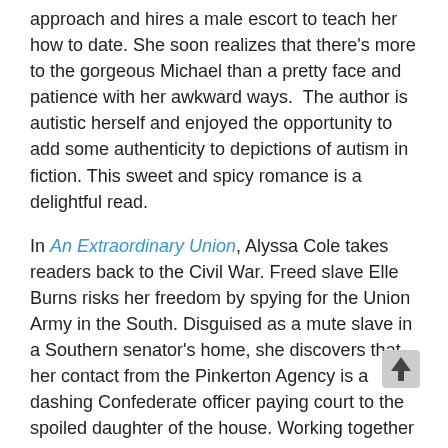approach and hires a male escort to teach her how to date. She soon realizes that there's more to the gorgeous Michael than a pretty face and patience with her awkward ways.  The author is autistic herself and enjoyed the opportunity to add some authenticity to depictions of autism in fiction. This sweet and spicy romance is a delightful read.
In An Extraordinary Union, Alyssa Cole takes readers back to the Civil War. Freed slave Elle Burns risks her freedom by spying for the Union Army in the South. Disguised as a mute slave in a Southern senator's home, she discovers that her contact from the Pinkerton Agency is a dashing Confederate officer paying court to the spoiled daughter of the house. Working together in secret to serve the Union cause, they develop mutual respect and trust. Cole has a talent for developing rich characters and doesn't shy away from the complications of an interracial romance in Civil War South. An Extraordinary Union will keep readers captivated while